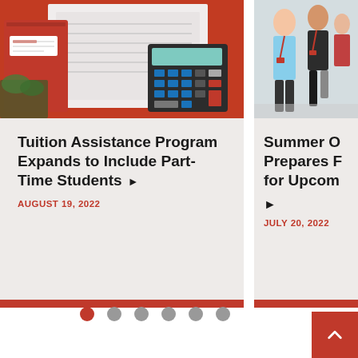[Figure (photo): Red folders/binders with a calculator on top, financial documents visible]
Tuition Assistance Program Expands to Include Part-Time Students ▶
AUGUST 19, 2022
[Figure (photo): Students walking outdoors, partially visible on right side]
Summer O... Prepares F... for Upcom... ▶
JULY 20, 2022